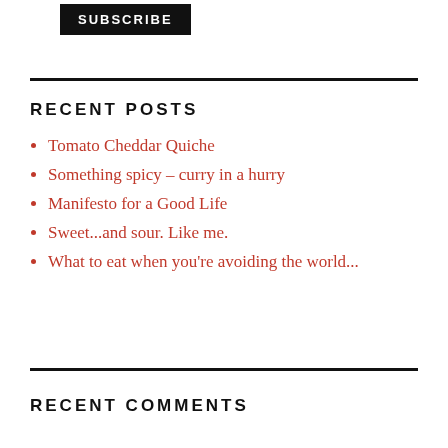[Figure (other): Subscribe button — black rectangle with white bold uppercase text 'SUBSCRIBE']
RECENT POSTS
Tomato Cheddar Quiche
Something spicy – curry in a hurry
Manifesto for a Good Life
Sweet...and sour. Like me.
What to eat when you're avoiding the world...
RECENT COMMENTS